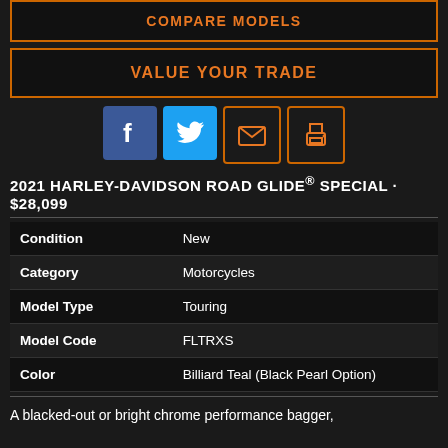COMPARE MODELS
VALUE YOUR TRADE
[Figure (infographic): Social media icons: Facebook, Twitter, Email, Print]
2021 HARLEY-DAVIDSON ROAD GLIDE® SPECIAL · $28,099
| Attribute | Value |
| --- | --- |
| Condition | New |
| Category | Motorcycles |
| Model Type | Touring |
| Model Code | FLTRXS |
| Color | Billiard Teal (Black Pearl Option) |
A blacked-out or bright chrome performance bagger,